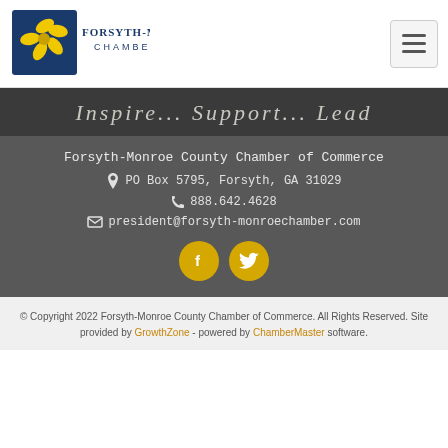[Figure (logo): Forsyth-Monroe Chamber logo with yellow flower and dark blue text]
Inspire... Support... Lead
Forsyth-Monroe County Chamber of Commerce
PO Box 5795, Forsyth, GA 31029
888.642.4628
president@forsyth-monroechamber.com
[Figure (illustration): Facebook and Twitter social media icons in gold/yellow circles]
© Copyright 2022 Forsyth-Monroe County Chamber of Commerce. All Rights Reserved. Site provided by GrowthZone - powered by ChamberMaster software.